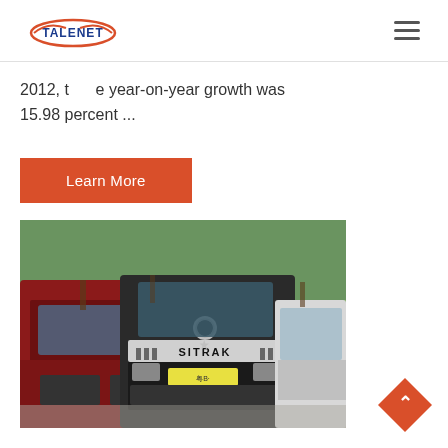TALENET (logo) — navigation header with hamburger menu
2012, the year-on-year growth was 15.98 percent ...
Learn More
[Figure (photo): Photograph of SITRAK trucks parked in a lot, trees in background. A dark SITRAK truck faces forward in center, red truck on left, white truck on right.]